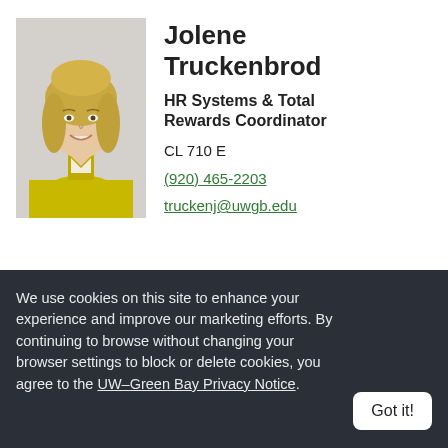[Figure (photo): Professional headshot of Jolene Truckenbrod, a woman with shoulder-length blonde hair, wearing a yellow cardigan, smiling against a light background.]
Jolene Truckenbrod
HR Systems & Total Rewards Coordinator
CL 710 E
(920) 465-2203
truckenj@uwgb.edu
We use cookies on this site to enhance your experience and improve our marketing efforts. By continuing to browse without changing your browser settings to block or delete cookies, you agree to the UW–Green Bay Privacy Notice.